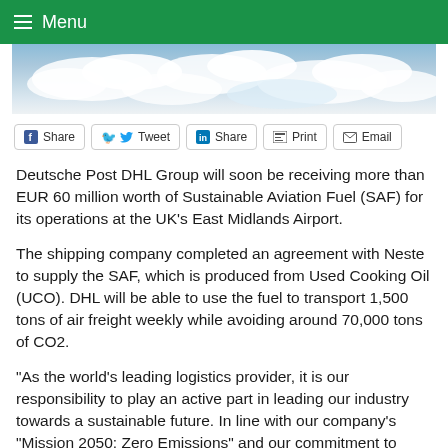Menu
[Figure (photo): Aerial photo of clouds from above, blue sky with white clouds]
Share  Tweet  Share  Print  Email
Deutsche Post DHL Group will soon be receiving more than EUR 60 million worth of Sustainable Aviation Fuel (SAF) for its operations at the UK's East Midlands Airport.
The shipping company completed an agreement with Neste to supply the SAF, which is produced from Used Cooking Oil (UCO). DHL will be able to use the fuel to transport 1,500 tons of air freight weekly while avoiding around 70,000 tons of CO2.
"As the world's leading logistics provider, it is our responsibility to play an active part in leading our industry towards a sustainable future. In line with our company's "Mission 2050: Zero Emissions" and our commitment to